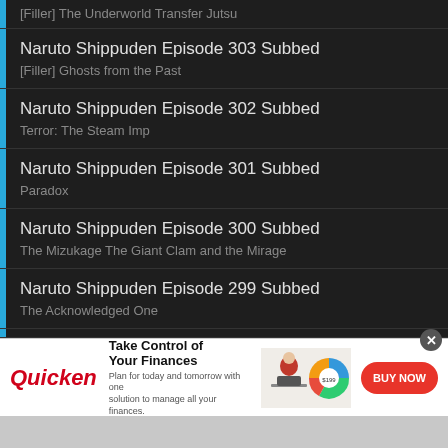[Filler] The Underworld Transfer Jutsu
Naruto Shippuden Episode 303 Subbed
[Filler] Ghosts from the Past
Naruto Shippuden Episode 302 Subbed
Terror: The Steam Imp
Naruto Shippuden Episode 301 Subbed
Paradox
Naruto Shippuden Episode 300 Subbed
The Mizukage The Giant Clam and the Mirage
Naruto Shippuden Episode 299 Subbed
The Acknowledged One
[Figure (infographic): Quicken advertisement banner: 'Take Control of Your Finances' with logo, woman working on laptop, pie chart, and BUY NOW button]